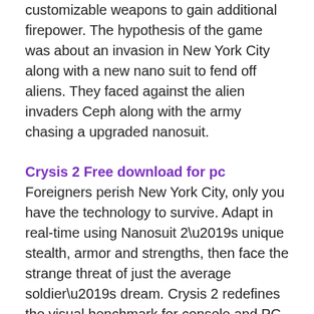customizable weapons to gain additional firepower. The hypothesis of the game was about an invasion in New York City along with a new nano suit to fend off aliens. They faced against the alien invaders Ceph along with the army chasing a upgraded nanosuit.
Crysis 2 Free download for pc Foreigners perish New York City, only you have the technology to survive. Adapt in real-time using Nanosuit 2’s unique stealth, armor and strengths, then face the strange threat of just the average soldier’s dream. Crysis 2 redefines the visual benchmark for console and PC platforms in New York’s urban jungle. Be the Weapon: The first release of Crysis was able to win applause as it injected a kind of superhero appeal into the traditional shooting game, and all of this was made possible thanks to the game’s speed, stealth, shield and